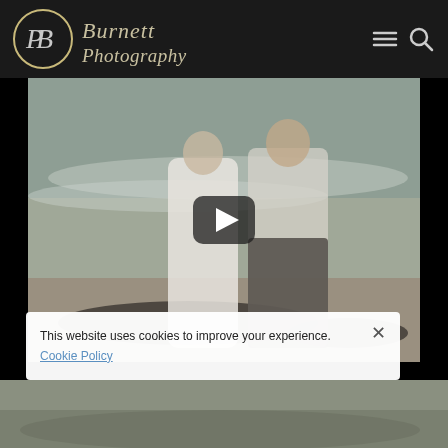[Figure (logo): Burnett Photography logo with circular PB monogram and script text]
[Figure (photo): Wedding couple standing in ocean surf, bride in white dress, groom in white open shirt, with video play button overlay]
This website uses cookies to improve your experience. Cookie Policy